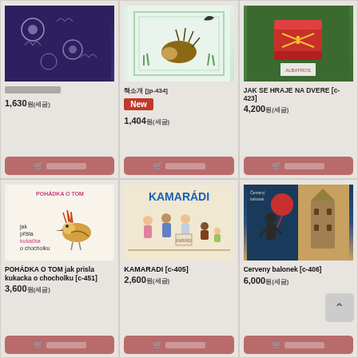[Figure (photo): Dark floral fabric book cover]
제목없음 (product title placeholder)
1,630원(세금)
[Figure (photo): Book cover with hedgehog illustration [jp-434]]
책소개 [jp-434]
New
1,404원(세금)
[Figure (photo): Book cover JAK SE HRAJE NA DVERE [c-423] with red drum on green background]
JAK SE HRAJE NA DVERE [c-423]
4,200원(세금)
[Figure (photo): POHÁDKA O TOM jak přišla kukačka o chocholku [c-451] children's book cover with hoopoe bird]
POHÁDKA O TOM jak prisla kukacka o chocholku [c-451]
3,600원(세금)
[Figure (photo): KAMARÁDI [c-405] children's book cover with diverse group of children]
KAMARADI [c-405]
2,600원(세금)
[Figure (photo): Cerveny balonek [c-406] book cover with boy and red balloon, Paris landmark]
Cerveny balonek [c-406]
6,000원(세금)